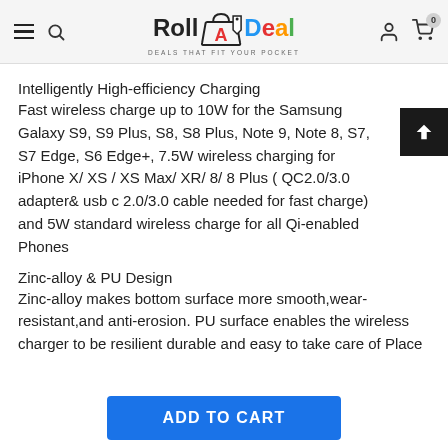Roll A Deal — DEALS THAT FIT YOUR POCKET
Intelligently High-efficiency Charging
Fast wireless charge up to 10W for the Samsung Galaxy S9, S9 Plus, S8, S8 Plus, Note 9, Note 8, S7, S7 Edge, S6 Edge+, 7.5W wireless charging for iPhone X/ XS / XS Max/ XR/ 8/ 8 Plus ( QC2.0/3.0 adapter& usb c 2.0/3.0 cable needed for fast charge) and 5W standard wireless charge for all Qi-enabled Phones
Zinc-alloy & PU Design
Zinc-alloy makes bottom surface more smooth,wear-resistant,and anti-erosion. PU surface enables the wireless charger to be resilient durable and easy to take care of Place